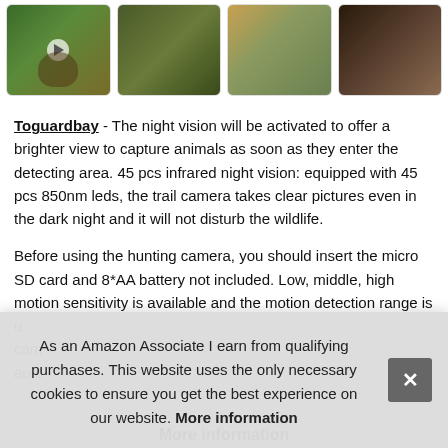[Figure (photo): Strip of four thumbnail images of wildlife/trail camera photos: a mountain lion, a trail camera on a tree, elephants/wildlife collage, and deer at night]
Toguardbay - The night vision will be activated to offer a brighter view to capture animals as soon as they enter the detecting area. 45 pcs infrared night vision: equipped with 45 pcs 850nm leds, the trail camera takes clear pictures even in the dark night and it will not disturb the wildlife.
Before using the hunting camera, you should insert the micro SD card and 8*AA battery not included. Low, middle, high motion sensitivity is available and the motion detection range is u... cam... auto...
As an Amazon Associate I earn from qualifying purchases. This website uses the only necessary cookies to ensure you get the best experience on our website. More information
More information